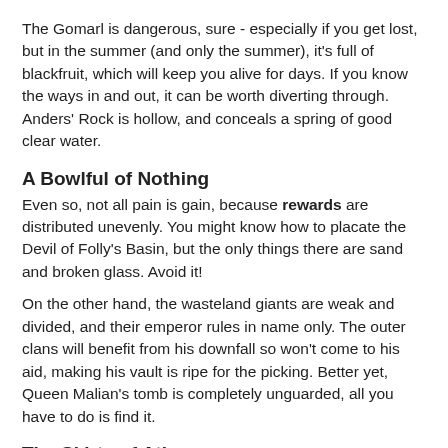The Gomarl is dangerous, sure - especially if you get lost, but in the summer (and only the summer), it's full of blackfruit, which will keep you alive for days. If you know the ways in and out, it can be worth diverting through.  Anders' Rock is hollow, and conceals a spring of good clear water.
A Bowlful of Nothing
Even so, not all pain is gain, because rewards are distributed unevenly. You might know how to placate the Devil of Folly's Basin, but the only things there are sand and broken glass. Avoid it!
On the other hand, the wasteland giants are weak and divided, and their emperor rules in name only. The outer clans will benefit from his downfall so won't come to his aid, making his vault is ripe for the picking. Better yet, Queen Malian's tomb is completely unguarded, all you have to do is find it.
The Skirts of Athena
This is all well and good, but if players don't have a way to find out, they'll be blundering around and missing out for ages, and...